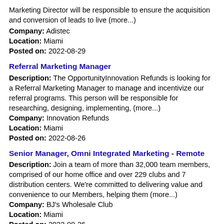Marketing Director will be responsible to ensure the acquisition and conversion of leads to live (more...)
Company: Adistec
Location: Miami
Posted on: 2022-08-29
Referral Marketing Manager
Description: The OpportunityInnovation Refunds is looking for a Referral Marketing Manager to manage and incentivize our referral programs. This person will be responsible for researching, designing, implementing, (more...)
Company: Innovation Refunds
Location: Miami
Posted on: 2022-08-26
Senior Manager, Omni Integrated Marketing - Remote
Description: Join a team of more than 32,000 team members, comprised of our home office and over 229 clubs and 7 distribution centers. We're committed to delivering value and convenience to our Members, helping them (more...)
Company: BJ's Wholesale Club
Location: Miami
Posted on: 2022-08-26
Marketing Operations Manager- remote
Description: JOB TITLE: Marketing Operations ManagerLOCATION: Remote must be able to work CST or PST timezone. RATE/SALARY: 35-40hr @START DATE